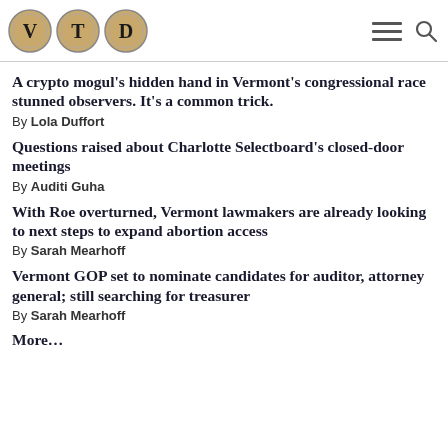[Figure (logo): VTD logo with three typewriter-key circles containing letters V, T, D]
A crypto mogul's hidden hand in Vermont's congressional race stunned observers. It's a common trick.
By Lola Duffort
Questions raised about Charlotte Selectboard's closed-door meetings
By Auditi Guha
With Roe overturned, Vermont lawmakers are already looking to next steps to expand abortion access
By Sarah Mearhoff
Vermont GOP set to nominate candidates for auditor, attorney general; still searching for treasurer
By Sarah Mearhoff
More…